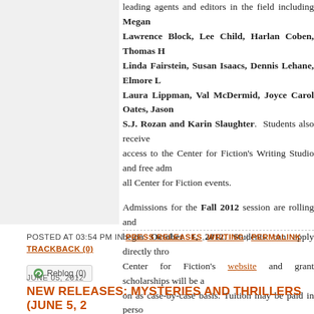leading agents and editors in the field including Megan Lawrence Block, Lee Child, Harlan Coben, Thomas H Linda Fairstein, Susan Isaacs, Dennis Lehane, Elmore L Laura Lippman, Val McDermid, Joyce Carol Oates, Jason S.J. Rozan and Karin Slaughter. Students also receive access to the Center for Fiction's Writing Studio and free adm all Center for Fiction events.
Admissions for the Fall 2012 session are rolling and begin October 1, 2012. Students can apply directly thro Center for Fiction's website and grant scholarships will be a on as case-by-case basis. Tuition may be paid in perso Center, online, over the phone, or by mailed check.
POSTED AT 03:54 PM IN PRESS RELEASES, WRITING | PERMALINK TRACKBACK (0)
Reblog (0)
JUNE 05, 2012
NEW RELEASES: MYSTERIES AND THRILLERS (JUNE 5, 2...
The following is a list of mystery, thriller and suspense novels that are b...